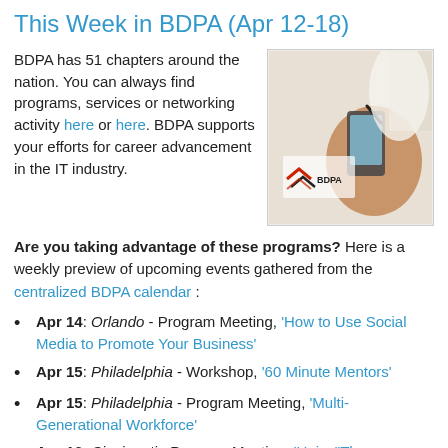This Week in BDPA (Apr 12-18)
BDPA has 51 chapters around the nation. You can always find programs, services or networking activity here or here. BDPA supports your efforts for career advancement in the IT industry.
[Figure (photo): BDPA logo with a hand holding a mobile device, promotional photo]
Are you taking advantage of these programs? Here is a weekly preview of upcoming events gathered from the centralized BDPA calendar :
Apr 14: Orlando - Program Meeting, 'How to Use Social Media to Promote Your Business'
Apr 15: Philadelphia - Workshop, '60 Minute Mentors'
Apr 15: Philadelphia - Program Meeting, 'Multi-Generational Workforce'
Apr 16: Cincinnati - Program Meeting, 'Unix: "The'